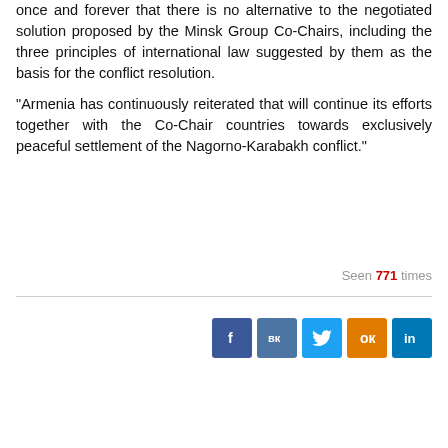once and forever that there is no alternative to the negotiated solution proposed by the Minsk Group Co-Chairs, including the three principles of international law suggested by them as the basis for the conflict resolution.
“Armenia has continuously reiterated that will continue its efforts together with the Co-Chair countries towards exclusively peaceful settlement of the Nagorno-Karabakh conflict.”
Seen 771 times
[Figure (other): Social media sharing icons: Facebook, VK, Twitter, Odnoklassniki, LinkedIn]